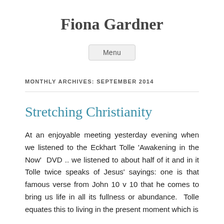Fiona Gardner
Menu
MONTHLY ARCHIVES: SEPTEMBER 2014
Stretching Christianity
At an enjoyable meeting yesterday evening when we listened to the Eckhart Tolle 'Awakening in the Now'  DVD .. we listened to about half of it and in it Tolle twice speaks of Jesus' sayings: one is that famous verse from John 10 v 10 that he comes to bring us life in all its fullness or abundance.  Tolle equates this to living in the present moment which is